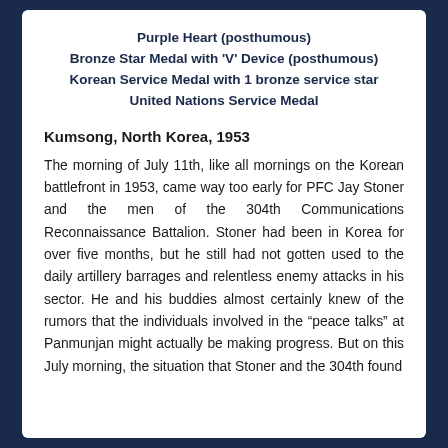Purple Heart (posthumous)
Bronze Star Medal with 'V' Device (posthumous)
Korean Service Medal with 1 bronze service star
United Nations Service Medal
Kumsong, North Korea, 1953
The morning of July 11th, like all mornings on the Korean battlefront in 1953, came way too early for PFC Jay Stoner and the men of the 304th Communications Reconnaissance Battalion. Stoner had been in Korea for over five months, but he still had not gotten used to the daily artillery barrages and relentless enemy attacks in his sector. He and his buddies almost certainly knew of the rumors that the individuals involved in the “peace talks” at Panmunjan might actually be making progress. But on this July morning, the situation that Stoner and the 304th found